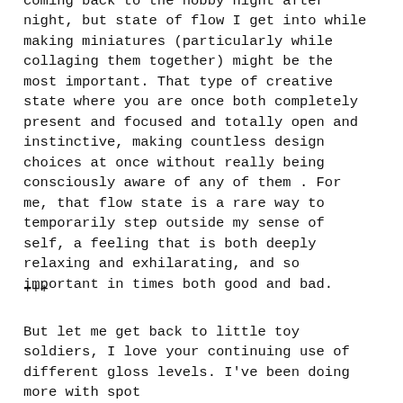coming back to the hobby night after night, but state of flow I get into while making miniatures (particularly while collaging them together) might be the most important. That type of creative state where you are once both completely present and focused and totally open and instinctive, making countless design choices at once without really being consciously aware of any of them . For me, that flow state is a rare way to temporarily step outside my sense of self, a feeling that is both deeply relaxing and exhilarating, and so important in times both good and bad.
+++
But let me get back to little toy soldiers, I love your continuing use of different gloss levels. I've been doing more with spot